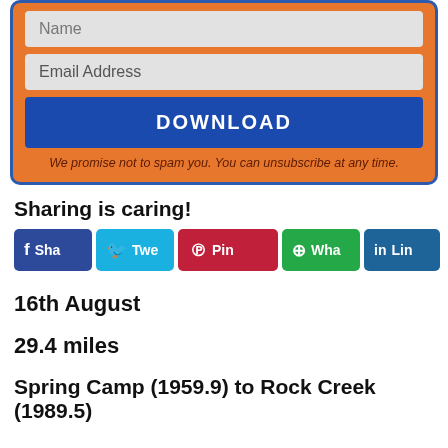[Figure (other): Orange signup/download form box with Name input, Email Address input, DOWNLOAD button, and spam disclaimer text]
Sharing is caring!
[Figure (other): Social share buttons row: Facebook (Sha...), Twitter (Twe...), Pinterest (Pin), WhatsApp (Wha...), LinkedIn (Lin...), and 16 SHARES count]
16th August
29.4 miles
Spring Camp (1959.9) to Rock Creek (1989.5)